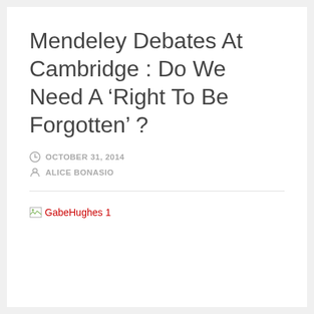Mendeley Debates At Cambridge : Do We Need A ‘Right To Be Forgotten’ ?
OCTOBER 31, 2014
ALICE BONASIO
[Figure (other): Broken image placeholder with red link text reading 'GabeHughes 1']